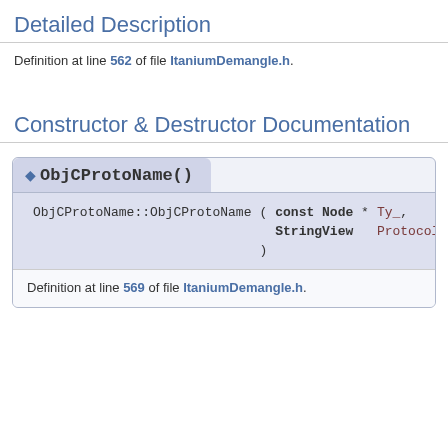Detailed Description
Definition at line 562 of file ItaniumDemangle.h.
Constructor & Destructor Documentation
◆ ObjCProtoName()
ObjCProtoName::ObjCProtoName ( const Node * Ty_, StringView Protocol_ ) inline
Definition at line 569 of file ItaniumDemangle.h.